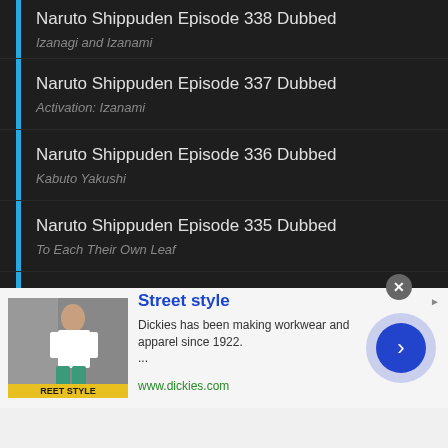Naruto Shippuden Episode 338 Dubbed
Izanagi and Izanami
Naruto Shippuden Episode 337 Dubbed
Activation: Izanami
Naruto Shippuden Episode 336 Dubbed
Kabuto Yakushi
Naruto Shippuden Episode 335 Dubbed
To Each Their Own Leaf
Naruto Shippuden Episode 334 Dubbed
Sibling Tag-Team
Naruto Shippuden Episode 333 Dubbed
The Reanimation Jutsu's Risk
[Figure (screenshot): Advertisement banner for Dickies Street Style with image of person in streetwear, text 'Street style', description 'Dickies has been making workwear and apparel since 1922...', URL 'www.dickies.com', and a blue circular CTA button with right arrow.]